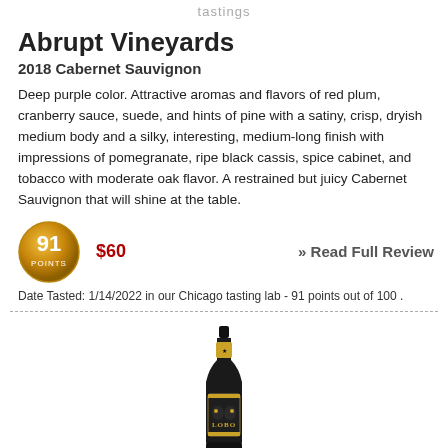tastings
Abrupt Vineyards
2018 Cabernet Sauvignon
Deep purple color. Attractive aromas and flavors of red plum, cranberry sauce, suede, and hints of pine with a satiny, crisp, dryish medium body and a silky, interesting, medium-long finish with impressions of pomegranate, ripe black cassis, spice cabinet, and tobacco with moderate oak flavor. A restrained but juicy Cabernet Sauvignon that will shine at the table.
[Figure (infographic): 91 points gold badge score circle]
$60
» Read Full Review
Date Tasted: 1/14/2022 in our Chicago tasting lab - 91 points out of 100 .
[Figure (photo): Wine bottle with black label reading LOBO]